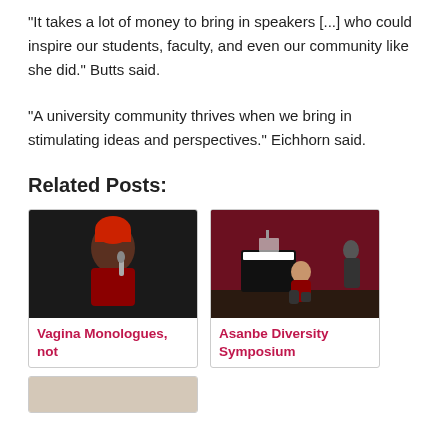“It takes a lot of money to bring in speakers [...] who could inspire our students, faculty, and even our community like she did.” Butts said.
“A university community thrives when we bring in stimulating ideas and perspectives.” Eichhorn said.
Related Posts:
[Figure (photo): Person speaking into a microphone, dark background, red dress]
Vagina Monologues, not
[Figure (photo): Person on stage in front of red curtain, piano visible]
Asanbe Diversity Symposium
[Figure (photo): Partially visible third related post thumbnail]